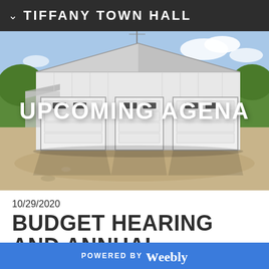TIFFANY TOWN HALL
[Figure (photo): Exterior photo of a white metal barn/town hall building with three large white garage doors, blue sky with clouds in background, dirt/gravel ground in foreground, trees visible on sides.]
UPCOMING AGENA
10/29/2020
BUDGET HEARING AND ANNUAL
POWERED BY weebly